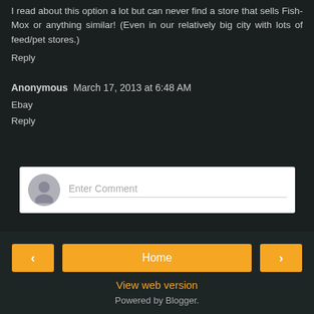I read about this option a lot but can never find a store that sells Fish-Mox or anything similar! (Even in our relatively big city with lots of feed/pet stores.)
Reply
Anonymous  March 17, 2013 at 6:48 AM
Ebay
Reply
[Figure (other): Comment input box with avatar and placeholder text 'Enter Comment']
Home | View web version | Powered by Blogger.